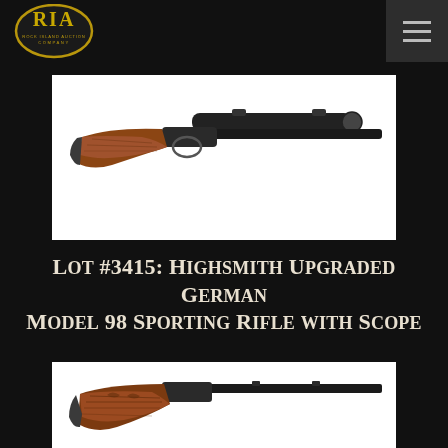[Figure (logo): Rock Island Auction Company (RIA) oval logo in gold/yellow on dark background]
[Figure (photo): Photograph of a Highsmith Upgraded German Model 98 Sporting Rifle with scope mounted on top, wooden stock with decorative grain, on white background]
Lot #3415: Highsmith Upgraded German Model 98 Sporting Rifle with Scope
[Figure (photo): Second photograph of the same or similar German Model 98 sporting rifle showing decorative carved wooden stock, partially visible, on white background]